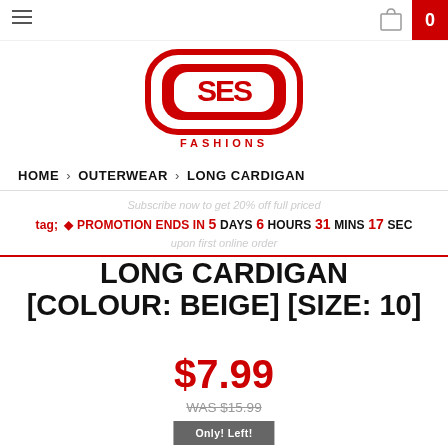SES Fashions — navigation bar with hamburger menu and cart (0)
[Figure (logo): SES Fashions logo — red rounded rectangle with stylized 'SES' lettering and 'FASHIONS' text below]
HOME > OUTERWEAR > LONG CARDIGAN
Subscribe now to get 20% off full priced
PROMOTION ENDS IN 5 DAYS 6 HOURS 31 MINS 17 SEC
upon first online order
LONG CARDIGAN [COLOUR: BEIGE] [SIZE: 10]
$7.99
WAS $15.99
Only! Left!